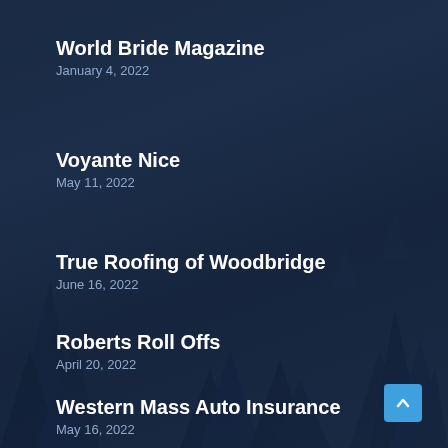World Bride Magazine
January 4, 2022
Voyante Nice
May 11, 2022
True Roofing of Woodbridge
June 16, 2022
Roberts Roll Offs
April 20, 2022
Western Mass Auto Insurance
May 16, 2022